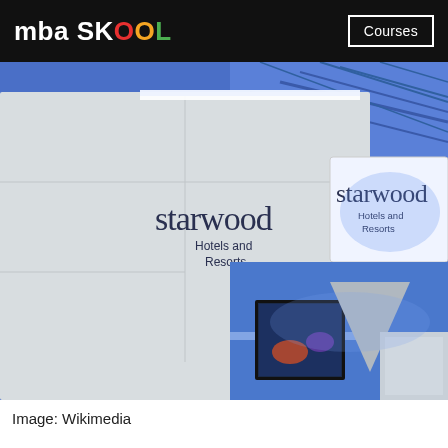mba SKOOL  Courses
[Figure (photo): Interior of a Starwood Hotels and Resorts exhibition booth with blue lighting. Two Starwood Hotels and Resorts logos visible — one on a white wall panel and one on an illuminated hanging sign. Industrial ceiling with blue accent lighting visible above.]
Image: Wikimedia